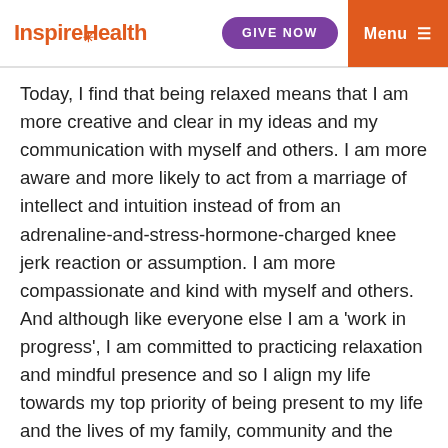InspireHealth | GIVE NOW | Menu
Today, I find that being relaxed means that I am more creative and clear in my ideas and my communication with myself and others. I am more aware and more likely to act from a marriage of intellect and intuition instead of from an adrenaline-and-stress-hormone-charged knee jerk reaction or assumption. I am more compassionate and kind with myself and others. And although like everyone else I am a 'work in progress', I am committed to practicing relaxation and mindful presence and so I align my life towards my top priority of being present to my life and the lives of my family, community and the whole world.
All of InspireHealth's programs and services are here to support stress reduction, relaxation and mindful